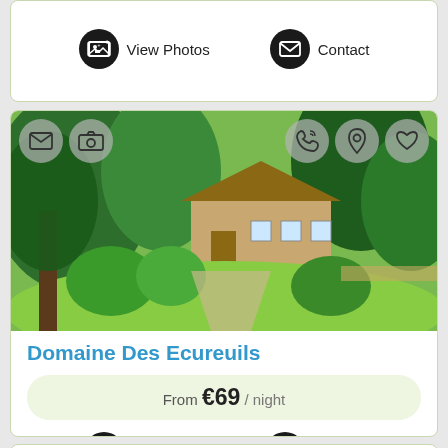[Figure (screenshot): Top portion of a property listing card showing View Photos and Contact buttons on white card with green border]
[Figure (photo): Property listing card for Domaine Des Ecureuils showing a French country house surrounded by green gardens and trees]
Domaine Des Ecureuils
From €69 / night
[Figure (screenshot): Bottom partial listing card with mail, camera, location pin, and heart icons visible]